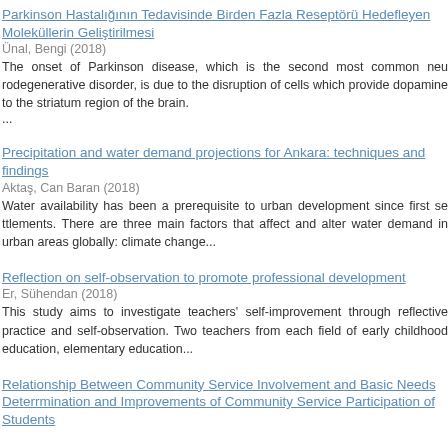Parkinson Hastalığının Tedavisinde Birden Fazla Reseptörü Hedefleyen Moleküllerin Geliştirilmesi
Ünal, Bengi (2018)
The onset of Parkinson disease, which is the second most common neurodegenerative disorder, is due to the disruption of cells which provide dopamine to the striatum region of the brain. ...
Precipitation and water demand projections for Ankara: techniques and findings
Aktaş, Can Baran (2018)
Water availability has been a prerequisite to urban development since first settlements. There are three main factors that affect and alter water demand in urban areas globally: climate cha...
Reflection on self-observation to promote professional development
Er, Sühendan (2018)
This study aims to investigate teachers' self-improvement through reflective practice and self-observation. Two teachers from each field of early childhood education, elementary educati...
Relationship Between Community Service Involvement and Basic Needs Deterrmination and Improvements of Community Service Participation of Students